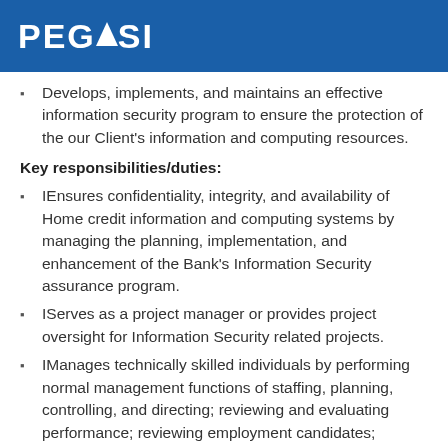PEGASI
Develops, implements, and maintains an effective information security program to ensure the protection of the our Client's information and computing resources.
Key responsibilities/duties:
IEnsures confidentiality, integrity, and availability of Home credit information and computing systems by managing the planning, implementation, and enhancement of the Bank's Information Security assurance program.
IServes as a project manager or provides project oversight for Information Security related projects.
IManages technically skilled individuals by performing normal management functions of staffing, planning, controlling, and directing; reviewing and evaluating performance; reviewing employment candidates; recommending salary increases and promotions for the